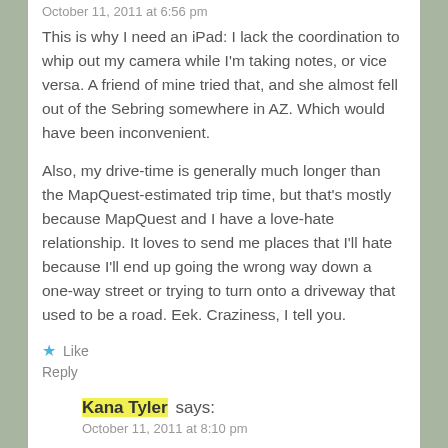October 11, 2011 at 6:56 pm
This is why I need an iPad: I lack the coordination to whip out my camera while I'm taking notes, or vice versa. A friend of mine tried that, and she almost fell out of the Sebring somewhere in AZ. Which would have been inconvenient.
Also, my drive-time is generally much longer than the MapQuest-estimated trip time, but that's mostly because MapQuest and I have a love-hate relationship. It loves to send me places that I'll hate because I'll end up going the wrong way down a one-way street or trying to turn onto a driveway that used to be a road. Eek. Craziness, I tell you.
★ Like
Reply
Kana Tyler says:
October 11, 2011 at 8:10 pm